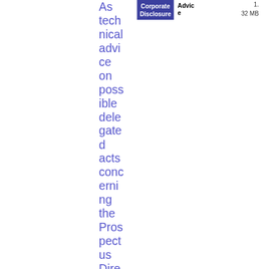|  | Corporate Disclosure | Advice |  |
| --- | --- | --- | --- |
| As technical advice on possible delegated acts concerning the Prospectus Directive as ame | Corporate Disclosure | Advice | 1. 32 MB |